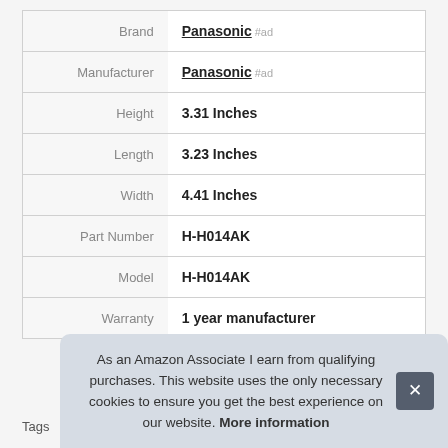| Attribute | Value |
| --- | --- |
| Brand | Panasonic #ad |
| Manufacturer | Panasonic #ad |
| Height | 3.31 Inches |
| Length | 3.23 Inches |
| Width | 4.41 Inches |
| Part Number | H-H014AK |
| Model | H-H014AK |
| Warranty | 1 year manufacturer |
As an Amazon Associate I earn from qualifying purchases. This website uses the only necessary cookies to ensure you get the best experience on our website. More information
Tags